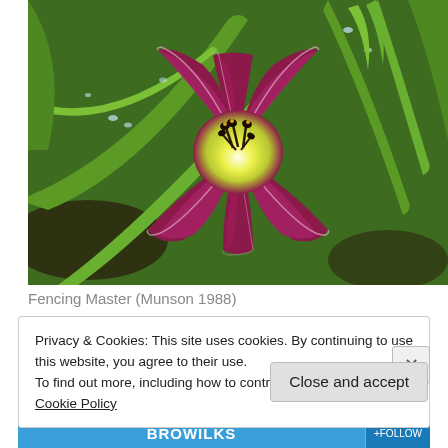[Figure (photo): Close-up photograph of a dark crimson/magenta daylily flower with a bright yellow-green center and dark stamens, surrounded by green foliage with water droplets.]
Fencing Master (Munson 1988)
Privacy & Cookies: This site uses cookies. By continuing to use this website, you agree to their use.
To find out more, including how to control cookies, see here: Cookie Policy
Close and accept